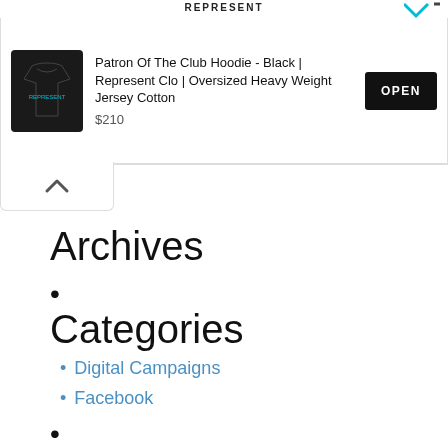[Figure (screenshot): Advertisement banner for Represent Clo showing a black hoodie with title 'Patron Of The Club Hoodie - Black | Represent Clo | Oversized Heavy Weight Jersey Cotton', price $210, and an OPEN button. Header reads REPRESENT with logo icons.]
Archives
Categories
Digital Campaigns
Facebook
Meta
Register
Log in
Entries RSS